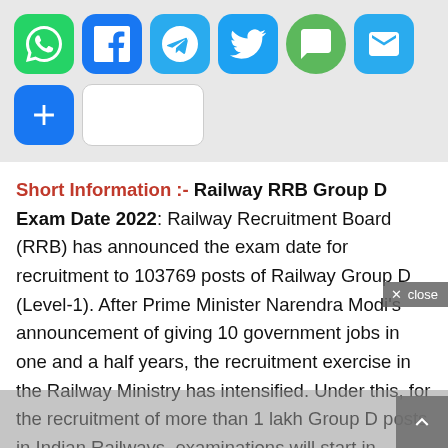[Figure (infographic): Row of social sharing icon buttons: WhatsApp (green), Facebook (blue), Telegram (teal), Twitter (blue), SMS (green), Email (teal). Second row: blue plus button and a blank white button.]
Short Information :- Railway RRB Group D Exam Date 2022: Railway Recruitment Board (RRB) has announced the exam date for recruitment to 103769 posts of Railway Group D (Level-1). After Prime Minister Narendra Modi's announcement of giving 10 government jobs in one and a half years, the recruitment exercise in the Railway Ministry has intensified. Under this, for the recruitment of more than 1 lakh Group D posts in Indian Railways, examinations will start in several phases across the country from July, which will end in September. In this way, the 80%...